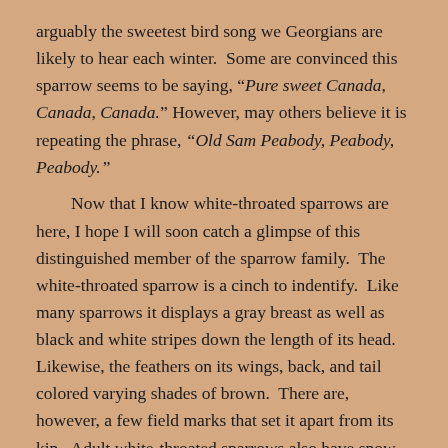arguably the sweetest bird song we Georgians are likely to hear each winter.  Some are convinced this sparrow seems to be saying, "Pure sweet Canada, Canada, Canada." However, may others believe it is repeating the phrase, "Old Sam Peabody, Peabody, Peabody."

    Now that I know white-throated sparrows are here, I hope I will soon catch a glimpse of this distinguished member of the sparrow family.  The white-throated sparrow is a cinch to indentify.  Like many sparrows it displays a gray breast as well as black and white stripes down the length of its head.  Likewise, the feathers on its wings, back, and tail colored varying shades of brown.  There are, however, a few field marks that set it apart from its kin.  Adult white-throated sparrows also have snow-white throats.  In addition, bright yellow patches adorn the birds' lores (the areas located just in front of the eye).

    During the time I host these birds, they spend most of